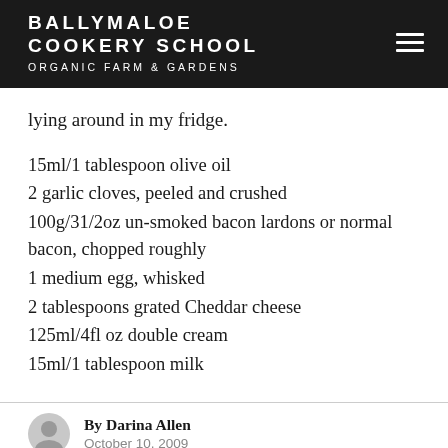BALLYMALOE COOKERY SCHOOL ORGANIC FARM & GARDENS
lying around in my fridge.
15ml/1 tablespoon olive oil
2 garlic cloves, peeled and crushed
100g/31/2oz un-smoked bacon lardons or normal bacon, chopped roughly
1 medium egg, whisked
2 tablespoons grated Cheddar cheese
125ml/4fl oz double cream
15ml/1 tablespoon milk
By Darina Allen
October 10, 2009